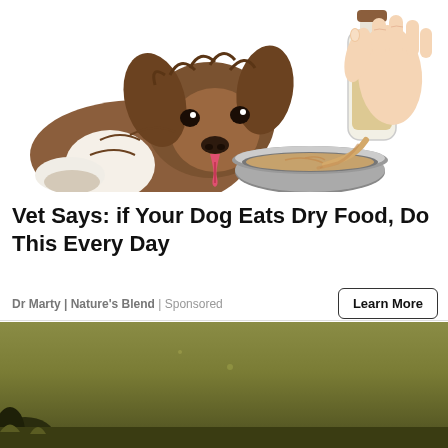[Figure (illustration): Illustration of a happy fluffy brown and white dog next to a metal bowl, with a hand pouring liquid supplement from a glass bottle into the bowl]
Vet Says: if Your Dog Eats Dry Food, Do This Every Day
Dr Marty | Nature's Blend | Sponsored
[Figure (photo): Partially visible photo with olive/dark green outdoor background, appears to show a yard or outdoor scene]